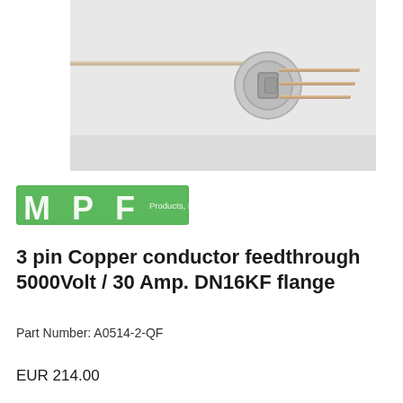[Figure (photo): Photograph of a 3 pin copper conductor feedthrough with a cylindrical metal flange and protruding metal pins/rods on a white background]
[Figure (logo): MPF Products, Inc. logo — bold white letters 'MPF' on a green rectangle background with 'Products, Inc.' in smaller white text]
3 pin Copper conductor feedthrough 5000Volt / 30 Amp. DN16KF flange
Part Number: A0514-2-QF
EUR 214.00